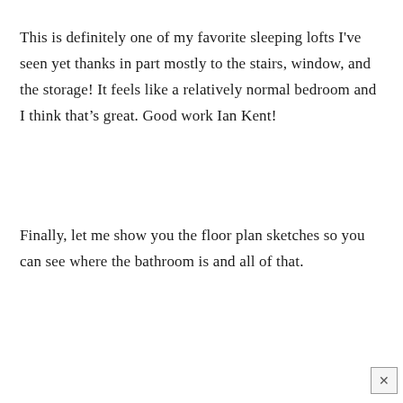This is definitely one of my favorite sleeping lofts I've seen yet thanks in part mostly to the stairs, window, and the storage! It feels like a relatively normal bedroom and I think that's great. Good work Ian Kent!
Finally, let me show you the floor plan sketches so you can see where the bathroom is and all of that.